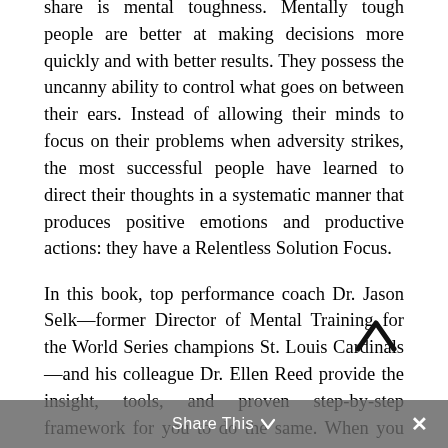share is mental toughness. Mentally tough people are better at making decisions more quickly and with better results. They possess the uncanny ability to control what goes on between their ears. Instead of allowing their minds to focus on their problems when adversity strikes, the most successful people have learned to direct their thoughts in a systematic manner that produces positive emotions and productive actions: they have a Relentless Solution Focus.

In this book, top performance coach Dr. Jason Selk—former Director of Mental Training for the World Series champions St. Louis Cardinals—and his colleague Dr. Ellen Reed provide the insight, tools, and proven step-by-step framework for you to do the same. When you have Relentless Solution Focus, you think better. Your decisions garner positive results. You take action and follow through—every time. And when you do get off track, you get back on with less effort and less drama. Weakness
Share This ∨  ✕